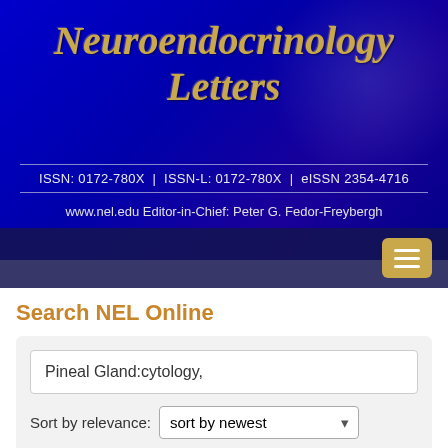Neuroendocrinology Letters
ISSN: 0172-780X | ISSN-L: 0172-780X | eISSN 2354-4716
www.nel.edu Editor-in-Chief: Peter G. Fedor-Freybergh
[Figure (screenshot): Navigation bar with hamburger menu button on dark blue background]
Search NEL Online
Pineal Gland:cytology,
Sort by relevance: sort by newest
Search in: All fields